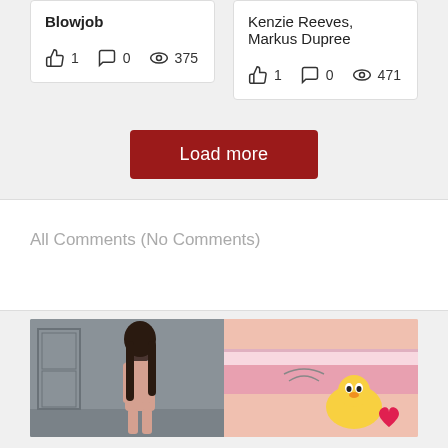Blowjob
1  0  375
Kenzie Reeves, Markus Dupree
1  0  471
Load more
All Comments (No Comments)
[Figure (photo): Two-panel image: left panel shows a dark-haired woman against a grey background; right panel shows a close-up of pink fabric with a cartoon character]